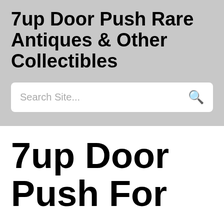7up Door Push Rare Antiques & Other Collectibles
Search Site...
7up Door Push For